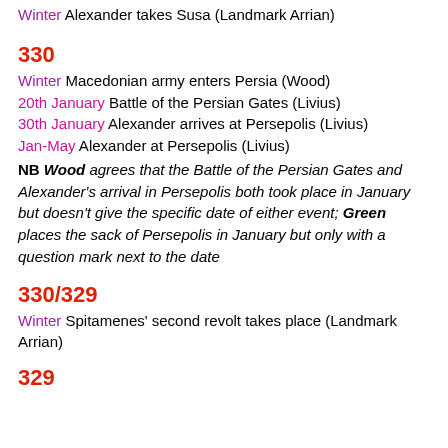Winter Alexander takes Susa (Landmark Arrian)
330
Winter Macedonian army enters Persia (Wood)
20th January Battle of the Persian Gates (Livius)
30th January Alexander arrives at Persepolis (Livius)
Jan-May Alexander at Persepolis (Livius)
NB Wood agrees that the Battle of the Persian Gates and Alexander's arrival in Persepolis both took place in January but doesn't give the specific date of either event; Green places the sack of Persepolis in January but only with a question mark next to the date
330/329
Winter Spitamenes' second revolt takes place (Landmark Arrian)
329